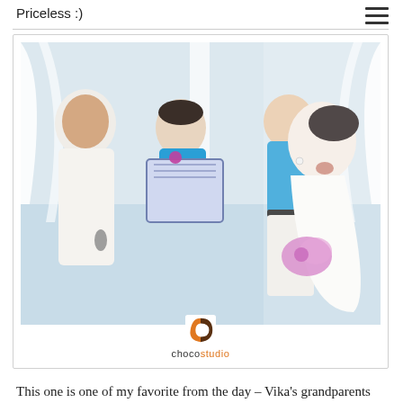Priceless :)
[Figure (photo): Wedding ceremony photo showing a bride in a white strapless dress laughing joyfully, a groom in white suit reading from a binder, two groomsmen in bright turquoise shirts, set against a bright beach background with white draping. The bride holds a purple bouquet. A chocostudio logo and wordmark appear below the photo.]
This one is one of my favorite from the day – Vika's grandparents right after the ceremony.